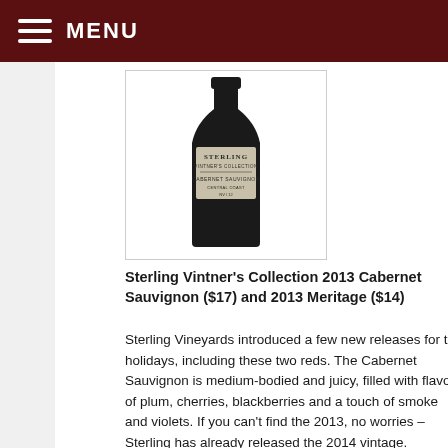MENU
[Figure (photo): A bottle of Sterling Vintner's Collection Cabernet Sauvignon wine with a dark label and beige/cream label area showing the Sterling branding.]
Sterling Vintner's Collection 2013 Cabernet Sauvignon ($17) and 2013 Meritage ($14)
Sterling Vineyards introduced a few new releases for the holidays, including these two reds. The Cabernet Sauvignon is medium-bodied and juicy, filled with flavors of plum, cherries, blackberries and a touch of smoke and violets. If you can't find the 2013, no worries – Sterling has already released the 2014 vintage.
The Meritage blends Merlot, Cabernet Sauvignon, Cabernet Franc, Malbec and Petit Verdot into a good wine